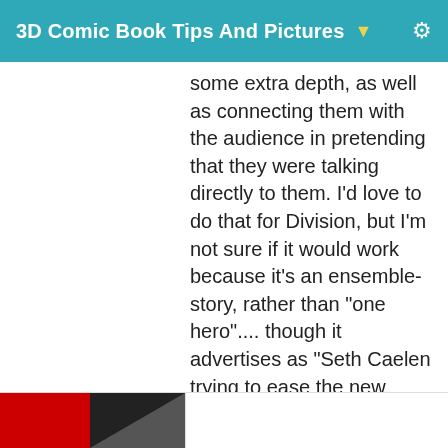3D Comic Book Tips And Pictures ▼ ⚙
some extra depth, as well as connecting them with the audience in pretending that they were talking directly to them. I'd love to do that for Division, but I'm not sure if it would work because it's an ensemble-story, rather than "one hero".... though it advertises as "Seth Caelen trying to ease the new students into their job, while the Demons show up". Ah well.
Post edited by BeeMKay on August 2019
[Figure (illustration): Bottom of page showing partial red and black graphic/comic image]